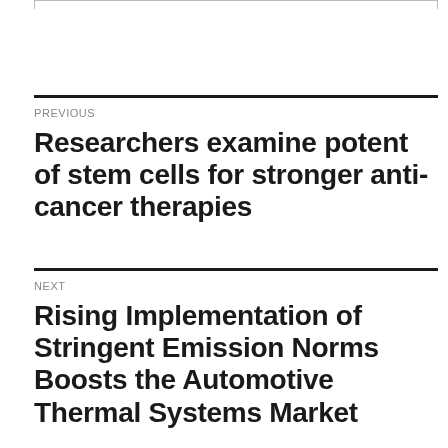PREVIOUS
Researchers examine potent of stem cells for stronger anti-cancer therapies
NEXT
Rising Implementation of Stringent Emission Norms Boosts the Automotive Thermal Systems Market